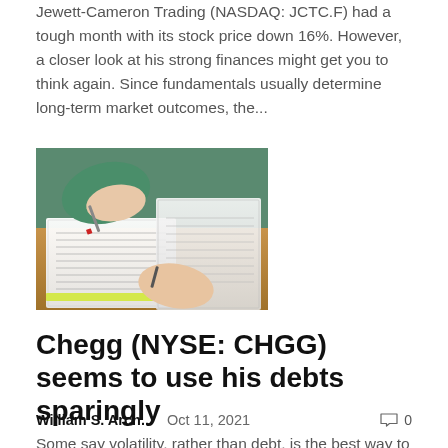Jewett-Cameron Trading (NASDAQ: JCTC.F) had a tough month with its stock price down 16%. However, a closer look at his strong finances might get you to think again. Since fundamentals usually determine long-term market outcomes, the...
[Figure (photo): Photo of hands writing in notebooks on a desk, study/finance theme]
Chegg (NYSE: CHGG) seems to use his debts sparingly
William S. Arch...   Oct 11, 2021   0
Some say volatility, rather than debt, is the best way to think about risk as an investor, but Warren Buffett said "volatility is far from risk". So it seems like smart money knows that debt - which is